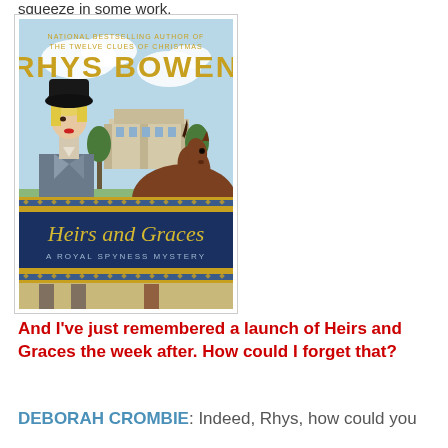squeeze in some work.
[Figure (illustration): Book cover of 'Heirs and Graces' by Rhys Bowen, A Royal Spyness Mystery. Shows a woman in equestrian attire with a black riding hat and a large horse in the foreground, with riders and a grand estate in the background. At the top: 'National Bestselling Author of The Twelve Clues of Christmas'. Author name 'RHYS BOWEN' in gold letters. Title 'Heirs and Graces' in gold script on a dark blue banner at the bottom.]
And I've just remembered a launch of Heirs and Graces the week after. How could I forget that?
DEBORAH CROMBIE: Indeed, Rhys, how could you